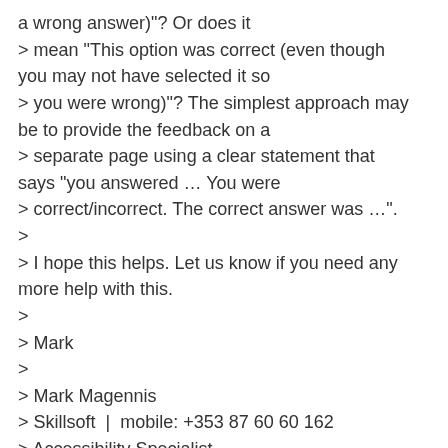a wrong answer)"? Or does it
> mean "This option was correct (even though you may not have selected it so
> you were wrong)"? The simplest approach may be to provide the feedback on a
> separate page using a clear statement that says "you answered … You were
> correct/incorrect. The correct answer was …".
>
> I hope this helps. Let us know if you need any more help with this.
>
> Mark
>
> Mark Magennis
> Skillsoft |  mobile: +353 87 60 60 162
> Accessibility Specialist